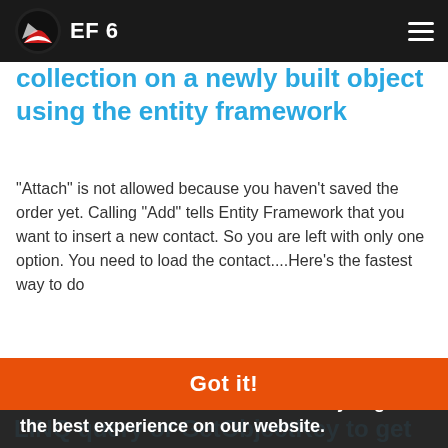EF 6
collection on a newly built object using the entity framework
"Attach" is not allowed because you haven't saved the order yet. Calling "Add" tells Entity Framework that you want to insert a new contact. So you are left with only one option. You need to load the contact....Here's the fastest way to do that:...OrderDetails context = new OrderDetails(); Contact contact = context.GetObjectByKey(new EntityKey("Ord...
This website uses cookies to ensure you get the best experience on our website.
Learn more
entity-framework   many-to-many
asked by Michael L Perry
Got it!
LINQ query or GetObjectKey to get...